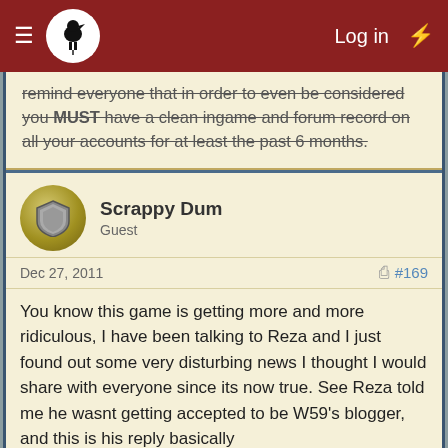Log in
remind everyone that in order to even be considered you MUST have a clean ingame and forum record on all your accounts for at least the past 6 months.
Scrappy Dum
Guest
Dec 27, 2011  #169
You know this game is getting more and more ridiculous, I have been talking to Reza and I just found out some very disturbing news I thought I would share with everyone since its now true. See Reza told me he wasnt getting accepted to be W59's blogger, and this is his reply basically
Jehosophat said that it was because of my forum history --
I have had 5 warnings in the time I have been on this account, the last 6 month i have had 2 -- to be put...
So jehosophat has not even looked at my application (from what she has said)
Did you know you can also visit us on our Discord chat? Come and meet us!